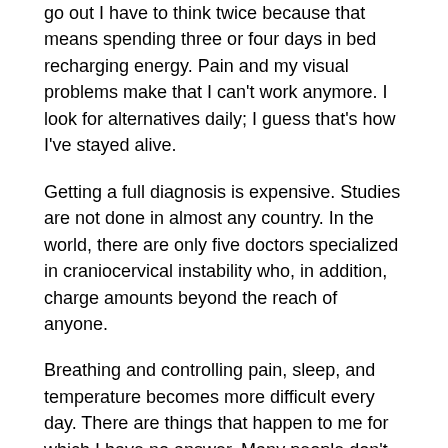go out I have to think twice because that means spending three or four days in bed recharging energy. Pain and my visual problems make that I can't work anymore. I look for alternatives daily; I guess that's how I've stayed alive.
Getting a full diagnosis is expensive. Studies are not done in almost any country. In the world, there are only five doctors specialized in craniocervical instability who, in addition, charge amounts beyond the reach of anyone.
Breathing and controlling pain, sleep, and temperature becomes more difficult every day. There are things that happen to me for which I have no answer. Many people don't believe this is real, despite all the evidence. This invalidation includes my family, friends, and doctors, which affects my mental health. Nobody listens to me, nobody cares. They always tell me that everything is in my head, they ask me to stop predisposing myself, to forget it.
On the other hand, there is no information or interest in